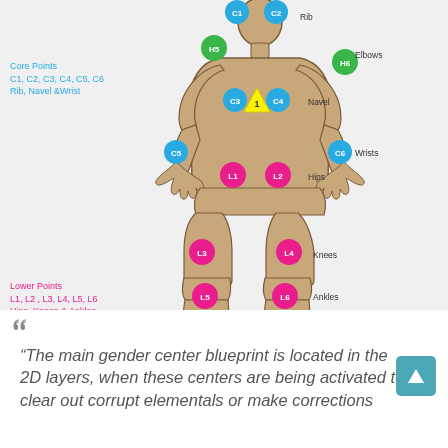[Figure (illustration): Human body diagram (front view, tan/brown skin tone) with labeled measurement points. Core Points (blue circles): C1, C2 (shoulders/chest), C3, C4 (mid torso), C5 (left wrist), C6 (right wrist). Green circles: H5 (left shoulder), H6 (right shoulder/elbow area). Yellow triangle labeled '1' at center torso. Pink/magenta circles: L1, L2 (hip area), L3, L4 (knee area), L5, L6 (ankle area). Body outline labels: Elbows, Rib, Navel, Wrists, Hips, Knees, Ankles.]
Core Points
C1, C2, C3, C4, C5, C6
Rib, Navel & Wrist
Lower Points
L1, L2 , L3, L4, L5, L6
Hips, Knees & Ankles
“The main gender center blueprint is located in the 2D layers, when these centers are being activated to clear out corrupt elementals or make corrections